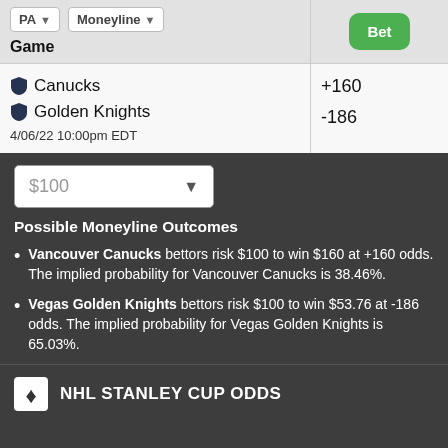| Game | Bet |
| --- | --- |
| Canucks +160 / Golden Knights -186 / 4/06/22 10:00pm EDT | Bet button |
$100 dropdown
Possible Moneyline Outcomes
Vancouver Canucks bettors risk $100 to win $160 at +160 odds. The implied probability for Vancouver Canucks is 38.46%.
Vegas Golden Knights bettors risk $100 to win $53.76 at -186 odds. The implied probability for Vegas Golden Knights is 65.03%.
NHL STANLEY CUP ODDS